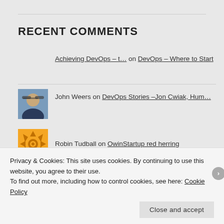RECENT COMMENTS
Achieving DevOps – t... on DevOps – Where to Start
John Weers on DevOps Stories –Jon Cwiak, Hum…
Robin Tudball on OwinStartup red herring
cs-cart.com on Walkthrough notes in creating…
Azure DevOps Project… on Walkthrough notes
Privacy & Cookies: This site uses cookies. By continuing to use this website, you agree to their use.
To find out more, including how to control cookies, see here: Cookie Policy
Close and accept